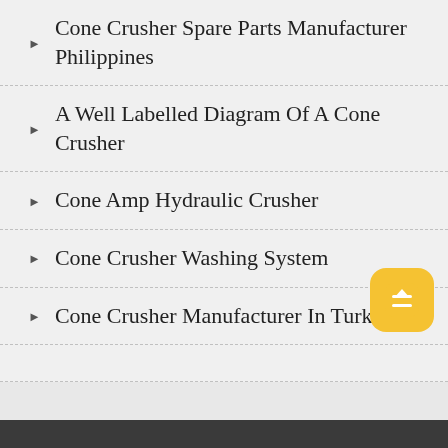Cone Crusher Spare Parts Manufacturer Philippines
A Well Labelled Diagram Of A Cone Crusher
Cone Amp Hydraulic Crusher
Cone Crusher Washing System
Cone Crusher Manufacturer In Turkey
Copyright © 2021. Cannytop Mining Machinery Company All rights reserved.  Sitemap
Leave Message
Free Service